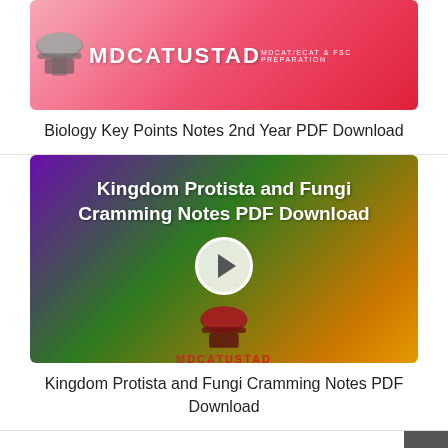[Figure (logo): MDCATUSTAD MDCAT/ECAT & FSC PREPARATION logo banner with pink-red gradient background, cropped at top]
Biology Key Points Notes 2nd Year PDF Download
[Figure (screenshot): Kingdom Protista and Fungi Cramming Notes PDF Download banner with dark purple to green to orange gradient, showing MDCATUSTAD logo and a play button overlay]
Kingdom Protista and Fungi Cramming Notes PDF Download
YOU MAY ALSO LIKE